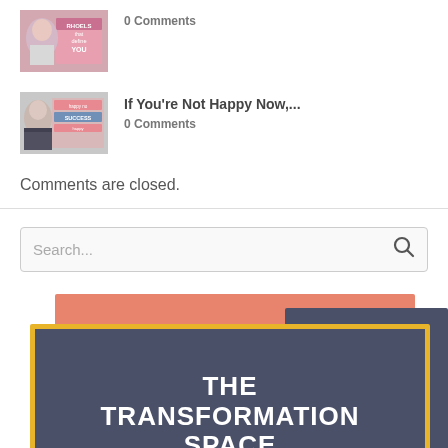[Figure (photo): Thumbnail image of a person with text overlay about topics that define you]
0 Comments
[Figure (photo): Thumbnail image of a woman with happy now / success / happy text overlay]
If You're Not Happy Now,...
0 Comments
Comments are closed.
Search...
[Figure (logo): The Transformation Space logo — dark blue-grey box with gold border, salmon and dark background layers, white bold text reading THE TRANSFORMATION SPACE]